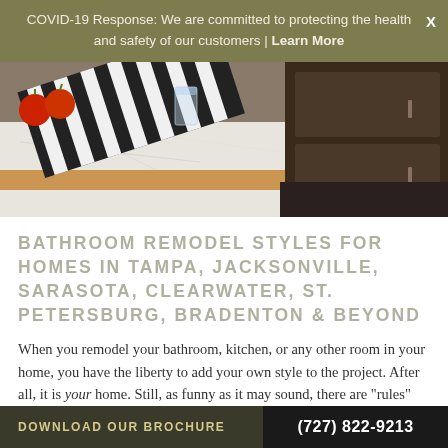COVID-19 Response: We are committed to protecting the health and safety of our customers | Learn More
[Figure (photo): Close-up photo of a modern kitchen counter with a striped black and white cutting board, tomatoes, a glass, wooden cutting board, white marble countertop, and dark wood cabinetry]
BATHROOM REMODEL STYLES FOR HOMES IN TAMPA, JACKSONVILLE, SARASOTA, CLEARWATER, ST. PETERSBURG, BRADENTON & BEYOND
When you remodel your bathroom, kitchen, or any other room in your home, you have the liberty to add your own style to the project. After all, it is your home. Still, as funny as it may sound, there are "rules" that go along with certain styles
DOWNLOAD OUR BROCHURE | (727) 822-9213